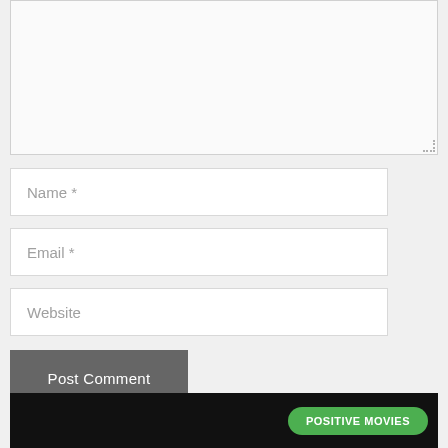[Figure (screenshot): Textarea input box (empty, resizable)]
Name *
Email *
Website
Post Comment
[Figure (screenshot): Bottom black banner with green POSITIVE MOVIES button]